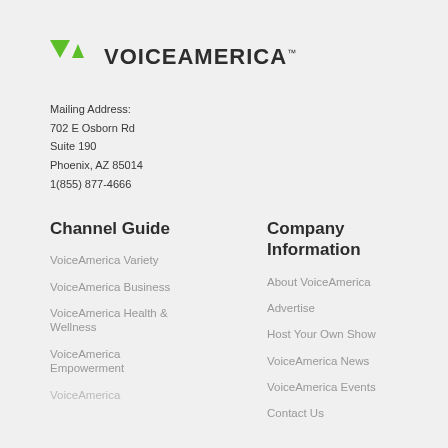[Figure (logo): VoiceAmerica logo with green triangle/chevron icon and bold dark text VOICEAMERICA]
Mailing Address:
702 E Osborn Rd
Suite 190
Phoenix, AZ 85014
1(855) 877-4666
Channel Guide
VoiceAmerica Variety
VoiceAmerica Business
VoiceAmerica Health & Wellness
VoiceAmerica Empowerment
VoiceAmerica
Company Information
About VoiceAmerica
Advertise
Host Your Own Show
VoiceAmerica News
VoiceAmerica Events
Contact Us